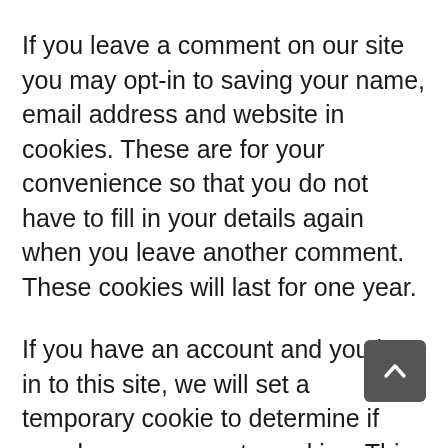If you leave a comment on our site you may opt-in to saving your name, email address and website in cookies. These are for your convenience so that you do not have to fill in your details again when you leave another comment. These cookies will last for one year.
If you have an account and you log in to this site, we will set a temporary cookie to determine if your browser accepts cookies. This cookie contains no personal data and is discarded when you close your browser.
When you log in, we will also set up several cookies to save your login information and your screen display choices. Login cookies last for two days,